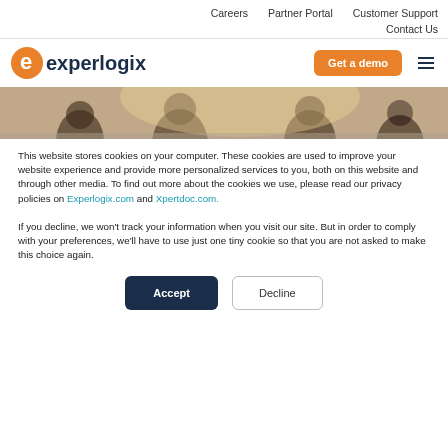Careers   Partner Portal   Customer Support
Contact Us
[Figure (logo): Experlogix logo with orange 'e' icon and dark blue text, plus orange 'Get a demo' button and hamburger menu icon]
[Figure (photo): Header hero image showing silhouettes of people in a bright office setting]
This website stores cookies on your computer. These cookies are used to improve your website experience and provide more personalized services to you, both on this website and through other media. To find out more about the cookies we use, please read our privacy policies on Experlogix.com and Xpertdoc.com.
If you decline, we won't track your information when you visit our site. But in order to comply with your preferences, we'll have to use just one tiny cookie so that you are not asked to make this choice again.
Accept   Decline